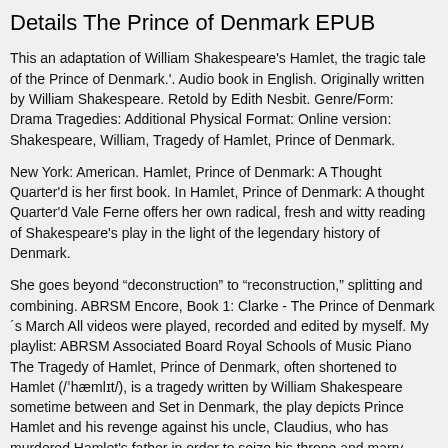Details The Prince of Denmark EPUB
This an adaptation of William Shakespeare's Hamlet, the tragic tale of the Prince of Denmark.'. Audio book in English. Originally written by William Shakespeare. Retold by Edith Nesbit. Genre/Form: Drama Tragedies: Additional Physical Format: Online version: Shakespeare, William, Tragedy of Hamlet, Prince of Denmark.
New York: American. Hamlet, Prince of Denmark: A Thought Quarter'd is her first book. In Hamlet, Prince of Denmark: A thought Quarter'd Vale Ferne offers her own radical, fresh and witty reading of Shakespeare's play in the light of the legendary history of Denmark.
She goes beyond “deconstruction” to “reconstruction,” splitting and combining. ABRSM Encore, Book 1: Clarke - The Prince of Denmark´s March All videos were played, recorded and edited by myself. My playlist: ABRSM Associated Board Royal Schools of Music Piano The Tragedy of Hamlet, Prince of Denmark, often shortened to Hamlet (/ˈhæmlɪt/), is a tragedy written by William Shakespeare sometime between and Set in Denmark, the play depicts Prince Hamlet and his revenge against his uncle, Claudius, who has murdered Hamlet's father in order to seize his throne and marry Hamlet's mother.